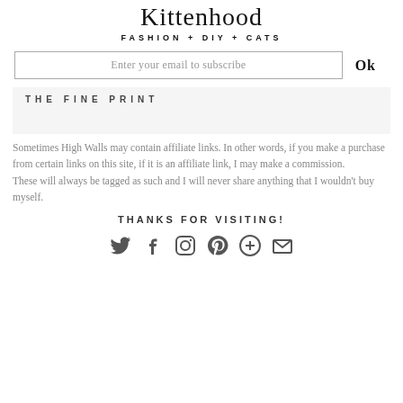[Figure (logo): Kittenhood script logo with tagline FASHION + DIY + CATS]
Enter your email to subscribe   Ok
THE FINE PRINT
Sometimes High Walls may contain affiliate links. In other words, if you make a purchase from certain links on this site, if it is an affiliate link, I may make a commission.
These will always be tagged as such and I will never share anything that I wouldn't buy myself.
THANKS FOR VISITING!
[Figure (other): Social media icons: Twitter, Facebook, Instagram, Pinterest, Google+, Email]